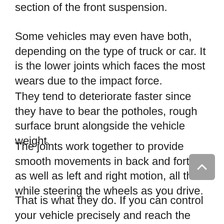section of the front suspension.
Some vehicles may even have both, depending on the type of truck or car. It is the lower joints which faces the most wears due to the impact force.
They tend to deteriorate faster since they have to bear the potholes, rough surface brunt alongside the vehicle weight.
The joints work together to provide smooth movements in back and forth as well as left and right motion, all the while steering the wheels as you drive.
That is what they do. If you can control your vehicle precisely and reach the destination in